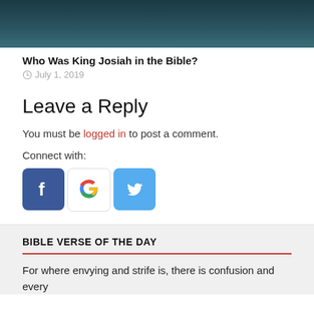[Figure (photo): Dark teal/blue-green image banner at top of page]
Who Was King Josiah in the Bible?
July 1, 2019
Leave a Reply
You must be logged in to post a comment.
Connect with:
[Figure (other): Social login buttons: Facebook (blue f), Google (colorful G), Twitter (blue bird)]
BIBLE VERSE OF THE DAY
For where envying and strife is, there is confusion and every